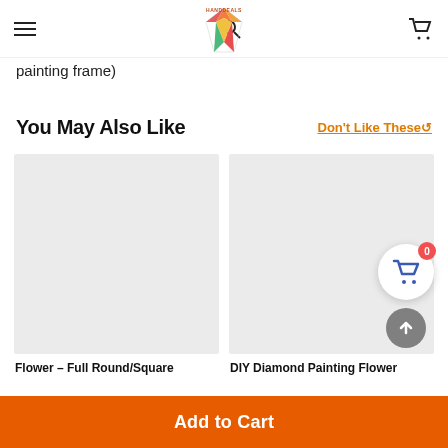HANDDEALS [logo] [hamburger menu] [search] [cart]
painting frame)
You May Also Like
Don't Like These🔁
[Figure (photo): Product image placeholder - light gray rectangle for Flower - Full Round/Square diamond painting product]
Flower – Full Round/Square
[Figure (photo): Product image placeholder - light gray rectangle for DIY Diamond Painting Flower product]
DIY Diamond Painting Flower
Add to Cart